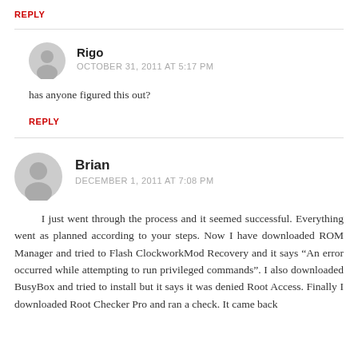REPLY
Rigo
OCTOBER 31, 2011 AT 5:17 PM
has anyone figured this out?
REPLY
Brian
DECEMBER 1, 2011 AT 7:08 PM
I just went through the process and it seemed successful. Everything went as planned according to your steps. Now I have downloaded ROM Manager and tried to Flash ClockworkMod Recovery and it says “An error occurred while attempting to run privileged commands”. I also downloaded BusyBox and tried to install but it says it was denied Root Access. Finally I downloaded Root Checker Pro and ran a check. It came back